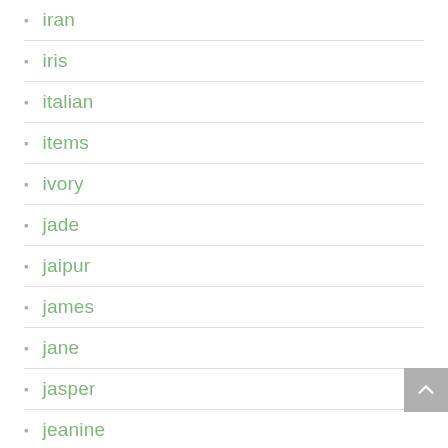iran
iris
italian
items
ivory
jade
jaipur
james
jane
jasper
jeanine
jenny
jewel
jeweled
jewellery